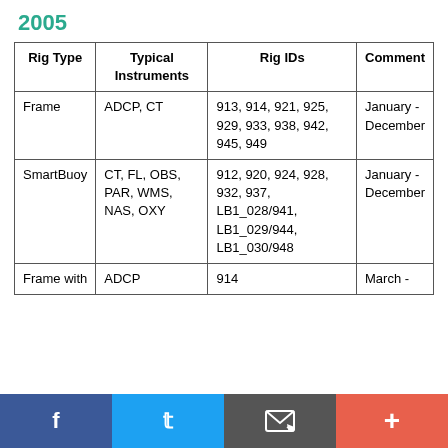2005
| Rig Type | Typical Instruments | Rig IDs | Comment |
| --- | --- | --- | --- |
| Frame | ADCP, CT | 913, 914, 921, 925, 929, 933, 938, 942, 945, 949 | January - December |
| SmartBuoy | CT, FL, OBS, PAR, WMS, NAS, OXY | 912, 920, 924, 928, 932, 937, LB1_028/941, LB1_029/944, LB1_030/948 | January - December |
| Frame with | ADCP | 914 | March - |